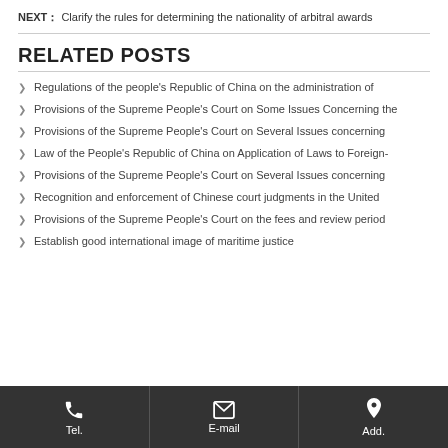NEXT： Clarify the rules for determining the nationality of arbitral awards
RELATED POSTS
Regulations of the people's Republic of China on the administration of
Provisions of the Supreme People's Court on Some Issues Concerning the
Provisions of the Supreme People's Court on Several Issues concerning
Law of the People's Republic of China on Application of Laws to Foreign-
Provisions of the Supreme People's Court on Several Issues concerning
Recognition and enforcement of Chinese court judgments in the United
Provisions of the Supreme People's Court on the fees and review period
Establish good international image of maritime justice
Tel.   E-mail   Add.